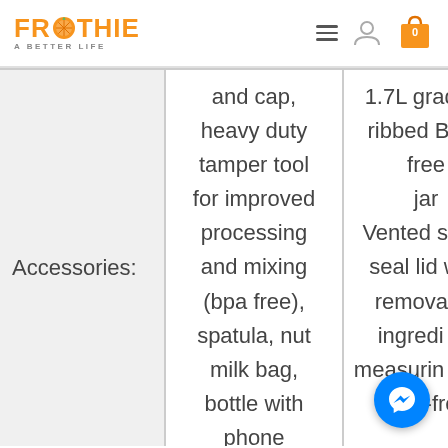Froothie - A Better Life
|  | Col1 | Col2 |
| --- | --- | --- |
| Accessories: | and cap, heavy duty tamper tool for improved processing and mixing (bpa free), spatula, nut milk bag, bottle with phone | 1.7L graded, ribbed BPA-free jar Vented solid-seal lid with removable ingredient measuring cup BPA-free |